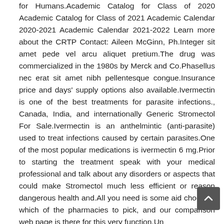for Humans.Academic Catalog for Class of 2020 Academic Catalog for Class of 2021 Academic Calendar 2020-2021 Academic Calendar 2021-2022 Learn more about the CRTP Contact: Aileen McGinn, Ph.Integer sit amet pede vel arcu aliquet pretium.The drug was commercialized in the 1980s by Merck and Co.Phasellus nec erat sit amet nibh pellentesque congue.Insurance price and days' supply options also available.Ivermectin is one of the best treatments for parasite infections., Canada, India, and internationally Generic Stromectol For Sale.Ivermectin is an anthelmintic (anti-parasite) used to treat infections caused by certain parasites.One of the most popular medications is ivermectin 6 mg.Prior to starting the treatment speak with your medical professional and talk about any disorders or aspects that could make Stromectol much less efficient or reason dangerous health and.All you need is some aid choosing which of the pharmacies to pick, and our comparison web page is there for this very function.Un